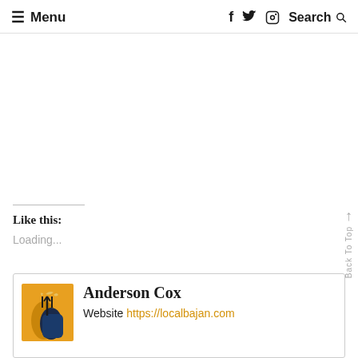≡ Menu   f  Twitter  Instagram  Search
Like this:
Loading...
Anderson Cox
Website https://localbajan.com